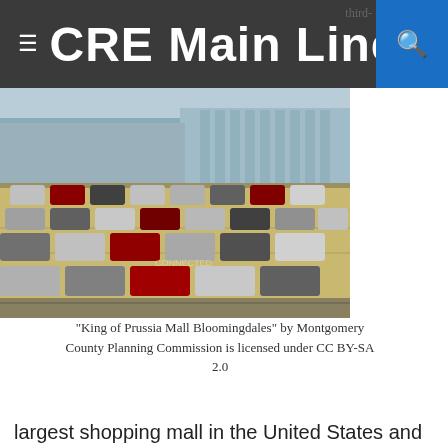CRE Main Line
[Figure (photo): Aerial/ground-level view of a large parking lot in front of King of Prussia Mall with many cars parked and a large building visible in the background.]
"King of Prussia Mall Bloomingdales" by Montgomery County Planning Commission is licensed under CC BY-SA 2.0
largest shopping mall in the United States and largest on the east coast, the King of Prussia Mall has a wide variety of stores, boutiques, and restaurants fit for any budget. The mall houses 450 stores, including seven department stores, like Macy's, Bloomingdale's, and Nordstrom Rack. If you're feeling hungry, you can grab a bite to eat at